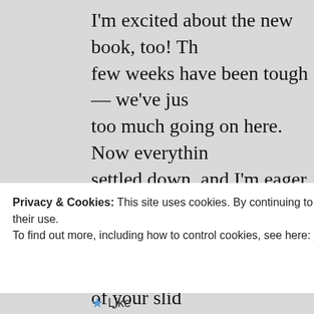I'm excited about the new book, too! The few weeks have been tough — we've just too much going on here. Now everything settled down, and I'm eager to get back writing.
I'm giggling at the thought of your slide to get up on our roof and do some more work (loose shingle this time), so I'll ha rig up some safety gear to scale a 45° ro two storeys up. I'm not afraid of the the or of falling: it's hitting the ground tha
Privacy & Cookies: This site uses cookies. By continuing to use this website, you agree to their use.
To find out more, including how to control cookies, see here: Our Cookie Policy
Close and accept
Like